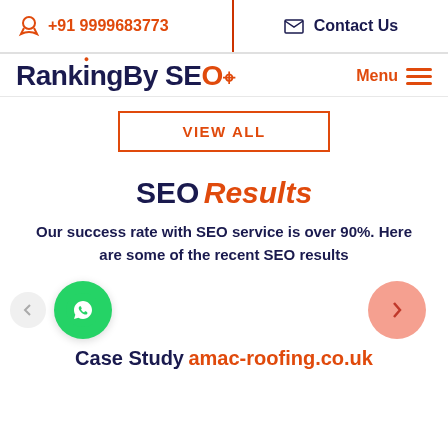+91 9999683773   Contact Us
[Figure (logo): RankingBySEO logo with target icon and Menu button]
VIEW ALL
SEO Results
Our success rate with SEO service is over 90%. Here are some of the recent SEO results
[Figure (illustration): WhatsApp button (green circle) and navigation arrows (left and right carousel controls)]
Case Study amac-roofing.co.uk